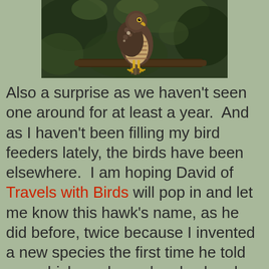[Figure (photo): A hawk perched on a branch with dark green foliage background. The bird has spotted/barred plumage and yellow feet gripping the branch.]
Also a surprise as we haven't seen one around for at least a year.  And as I haven't been filling my bird feeders lately, the birds have been elsewhere.  I am hoping David of Travels with Birds will pop in and let me know this hawk's name, as he did before, twice because I invented a new species the first time he told me, which made me laugh when he came back and mentioned it. Thank you for the chuckle David.